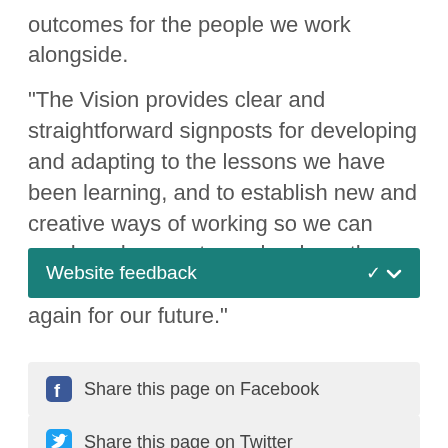outcomes for the people we work alongside.
"The Vision provides clear and straightforward signposts for developing and adapting to the lessons we have been learning, and to establish new and creative ways of working so we can reach and support people where they live, and help to build up communities again for our future."
Website feedback
Share this page on Facebook
Share this page on Twitter